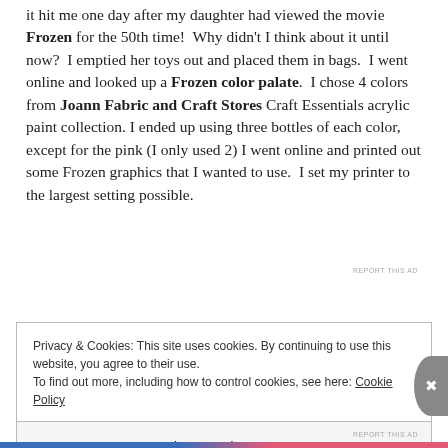it hit me one day after my daughter had viewed the movie Frozen for the 50th time!  Why didn't I think about it until now?  I emptied her toys out and placed them in bags.  I went online and looked up a Frozen color palate.  I chose 4 colors from Joann Fabric and Craft Stores Craft Essentials acrylic paint collection. I ended up using three bottles of each color, except for the pink (I only used 2) I went online and printed out some Frozen graphics that I wanted to use.  I set my printer to the largest setting possible.
REPORT THIS AD
Privacy & Cookies: This site uses cookies. By continuing to use this website, you agree to their use.
To find out more, including how to control cookies, see here: Cookie Policy
Close and accept